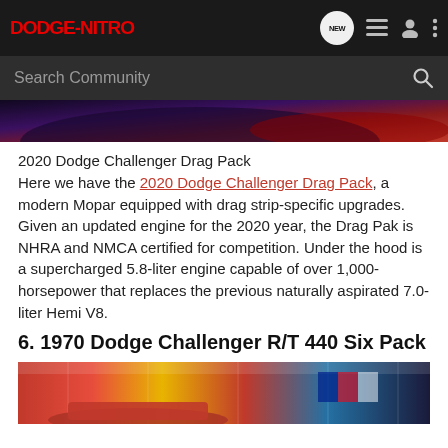DODGE-NITRO
[Figure (screenshot): Partial view of a car image with dark red and blue tones at the top of the page]
2020 Dodge Challenger Drag Pack
Here we have the 2020 Dodge Challenger Drag Pack, a modern Mopar equipped with drag strip-specific upgrades. Given an updated engine for the 2020 year, the Drag Pak is NHRA and NMCA certified for competition. Under the hood is a supercharged 5.8-liter engine capable of over 1,000-horsepower that replaces the previous naturally aspirated 7.0-liter Hemi V8.
6. 1970 Dodge Challenger R/T 440 Six Pack
[Figure (photo): Bottom portion of a car show or garage scene with a red car visible and colorful banners/flags in the background]